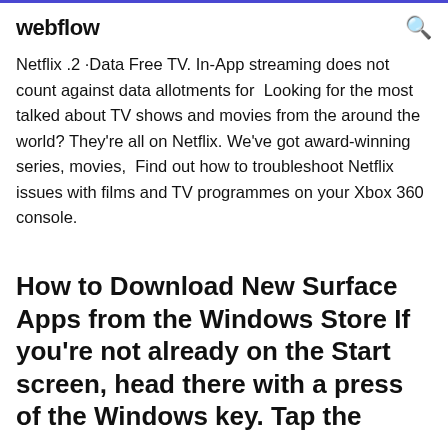webflow
Netflix .2 ·Data Free TV. In-App streaming does not count against data allotments for  Looking for the most talked about TV shows and movies from the around the world? They're all on Netflix. We've got award-winning series, movies,  Find out how to troubleshoot Netflix issues with films and TV programmes on your Xbox 360 console.
How to Download New Surface Apps from the Windows Store If you're not already on the Start screen, head there with a press of the Windows key. Tap the